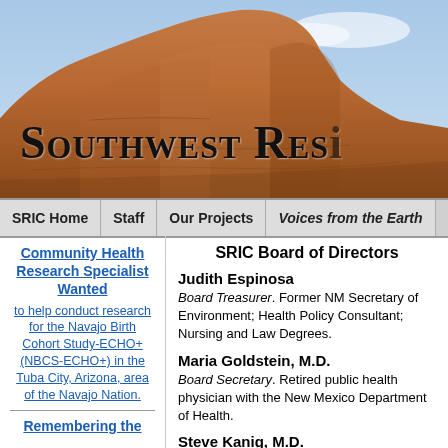[Figure (photo): Red sandstone mesa/butte against a blue sky — Southwest desert landscape header image]
Southwest Res[ource Information Council]
SRIC Home | Staff | Our Projects | Voices from the Earth
Community Health Research Specialist Wanted to help conduct research for the Navajo Birth Cohort Study-ECHO+ (NBCS-ECHO+) in the Tuba City, Arizona, area of the Navajo Nation.
SRIC Board of Directors
Judith Espinosa
Board Treasurer. Former NM Secretary of Environment; Health Policy Consultant; Nursing and Law Degrees.
Maria Goldstein, M.D.
Board Secretary. Retired public health physician with the New Mexico Department of Health.
Steve Kanig, M.D.
Nephrologist. Consultant on informatics. Vice chair of the board of New Mexico's health information exchange. New Mexico delegate to the American
Remembering the